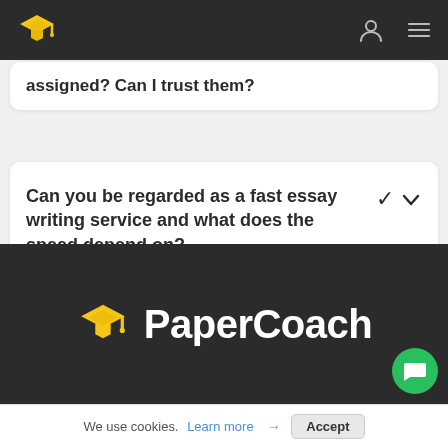PaperCoach navigation header
assigned? Can I trust them?
Can you be regarded as a fast essay writing service and what does the speed depend on?
[Figure (logo): PaperCoach logo with graduation cap icon and brand name PaperCoach in white text]
We use cookies. Learn more → Accept